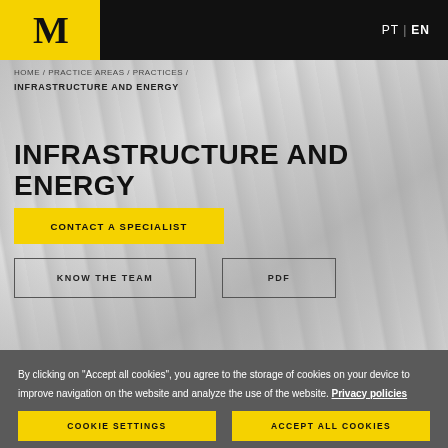M  PT | EN
HOME / PRACTICE AREAS / PRACTICES /
INFRASTRUCTURE AND ENERGY
INFRASTRUCTURE AND ENERGY
CONTACT A SPECIALIST
KNOW THE TEAM
PDF
By clicking on "Accept all cookies", you agree to the storage of cookies on your device to improve navigation on the website and analyze the use of the website. Privacy policies
COOKIE SETTINGS
ACCEPT ALL COOKIES